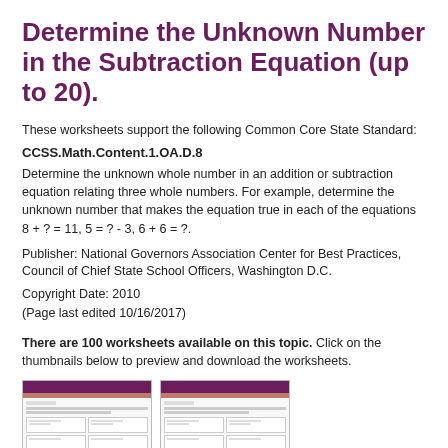Determine the Unknown Number in the Subtraction Equation (up to 20).
These worksheets support the following Common Core State Standard:
CCSS.Math.Content.1.OA.D.8
Determine the unknown whole number in an addition or subtraction equation relating three whole numbers. For example, determine the unknown number that makes the equation true in each of the equations 8 + ? = 11, 5 = ? - 3, 6 + 6 = ?.
Publisher: National Governors Association Center for Best Practices, Council of Chief State School Officers, Washington D.C.
Copyright Date: 2010
(Page last edited 10/16/2017)
There are 100 worksheets available on this topic. Click on the thumbnails below to preview and download the worksheets.
[Figure (screenshot): Two thumbnail previews of worksheet pages showing subtraction equation problems]